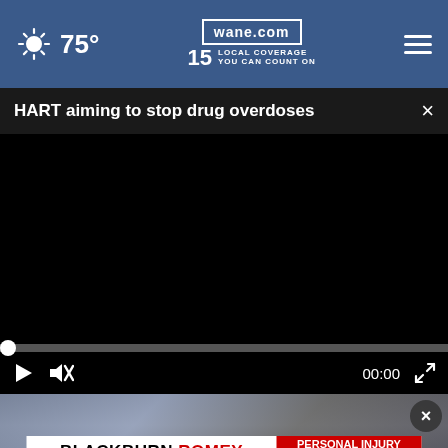75° wane.com 15 LOCAL COVERAGE YOU CAN COUNT ON
HART aiming to stop drug overdoses
[Figure (screenshot): Black video player area, paused at 00:00]
[Figure (photo): Thumbnail image of a person speaking at a press conference with American flags in background]
[Figure (other): Advertisement banner: Blackburn Romey Trusted Injury Lawyers 833.FOR HELP PERSONAL INJURY WRONGFUL DEATH FREE CONSULTATIONS]